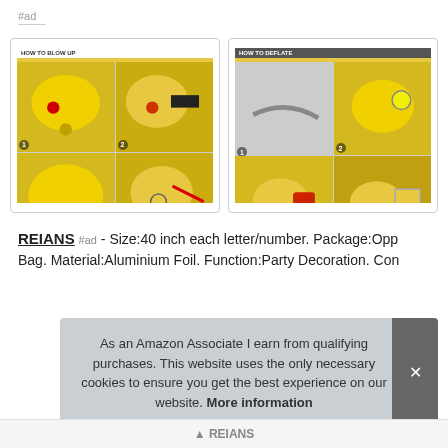#ad
[Figure (screenshot): HOW TO BLOW UP instructions with 4-step grid showing yellow balloon inflation process]
[Figure (screenshot): HOW TO DEFLATE instructions with 4-step grid showing yellow balloon deflation process]
REIANS #ad - Size:40 inch each letter/number. Package:Opp Bag. Material:Aluminium Foil. Function:Party Decoration. Con
As an Amazon Associate I earn from qualifying purchases. This website uses the only necessary cookies to ensure you get the best experience on our website. More information